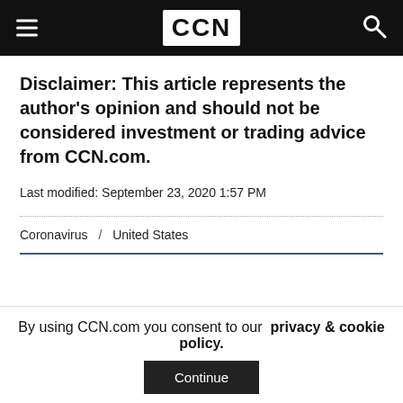CCN
Disclaimer: This article represents the author's opinion and should not be considered investment or trading advice from CCN.com.
Last modified: September 23, 2020 1:57 PM
Coronavirus / United States
By using CCN.com you consent to our privacy & cookie policy.
Continue